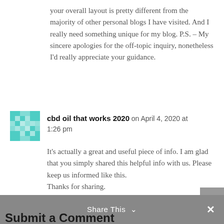your overall layout is pretty different from the majority of other personal blogs I have visited. And I really need something unique for my blog. P.S. – My sincere apologies for the off-topic inquiry, nonetheless I'd really appreciate your guidance.
cbd oil that works 2020 on April 4, 2020 at 1:26 pm
It's actually a great and useful piece of info. I am glad that you simply shared this helpful info with us. Please keep us informed like this. Thanks for sharing.
Share This ∨
Submit a Comment